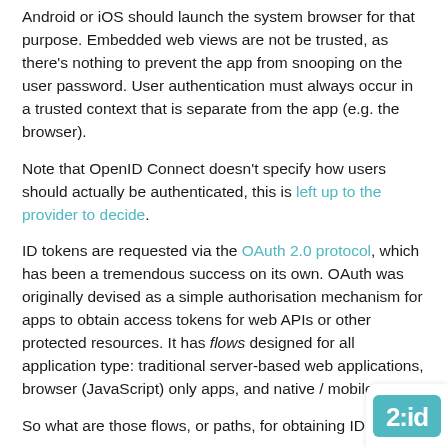Android or iOS should launch the system browser for that purpose. Embedded web views are not be trusted, as there's nothing to prevent the app from snooping on the user password. User authentication must always occur in a trusted context that is separate from the app (e.g. the browser).
Note that OpenID Connect doesn't specify how users should actually be authenticated, this is left up to the provider to decide.
ID tokens are requested via the OAuth 2.0 protocol, which has been a tremendous success on its own. OAuth was originally devised as a simple authorisation mechanism for apps to obtain access tokens for web APIs or other protected resources. It has flows designed for all application type: traditional server-based web applications, browser (JavaScript) only apps, and native / mobile apps.
So what are those flows, or paths, for obtaining ID tokens?
Authorisation code flow -- the most commonly used flow, intended for traditional web apps as well as native / mobile apps. Involves an initial browser redirection to / from t…